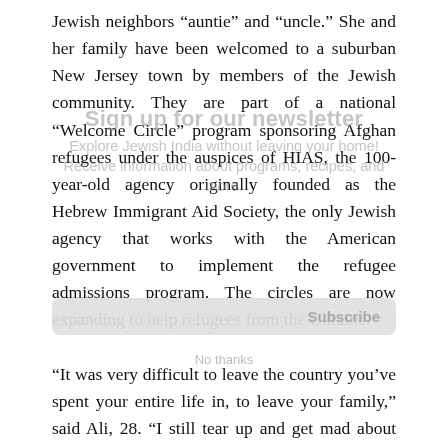Jewish neighbors “auntie” and “uncle.” She and her family have been welcomed to a suburban New Jersey town by members of the Jewish community. They are part of a national “Welcome Circle” program sponsoring Afghan refugees under the auspices of HIAS, the 100-year-old agency originally founded as the Hebrew Immigrant Aid Society, the only Jewish agency that works with the American government to implement the refugee admissions program. The circles are now expanding to help refugees from the Ukraine.
“It was very difficult to leave the country you’ve spent your entire life in, to leave your family,” said Ali, 28. “I still tear up and get mad about how much I’m missing home.” Dina and Ali are Shiite Muslims, and while Ali